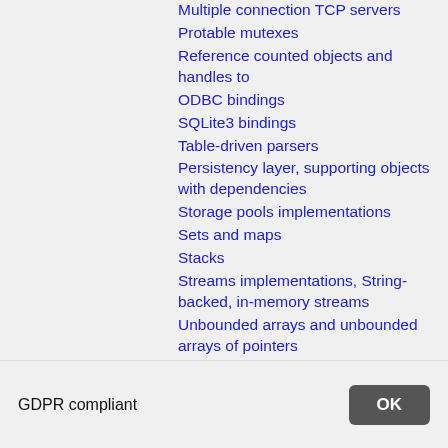Multiple connection TCP servers
Protable mutexes
Reference counted objects and handles to
ODBC bindings
SQLite3 bindings
Table-driven parsers
Persistency layer, supporting objects with dependencies
Storage pools implementations
Sets and maps
Stacks
Streams implementations, String-backed, in-memory streams
Unbounded arrays and unbounded arrays of pointers
Tables for Ada and Strings Edit for Ada libraries are included
GDPR compliant